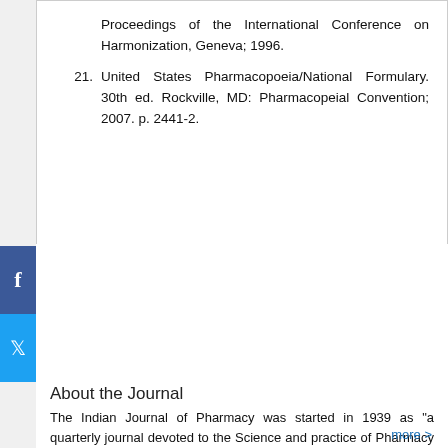Proceedings of the International Conference on Harmonization, Geneva; 1996.
21. United States Pharmacopoeia/National Formulary. 30th ed. Rockville, MD: Pharmacopeial Convention; 2007. p. 2441-2.
About the Journal
The Indian Journal of Pharmacy was started in 1939 as "a quarterly journal devoted to the Science and practice of Pharmacy in all its branches". The Chief editor and the main guiding force behind the 'Journal' was Prof. M.L. Schroff, Head of the Department of Pharmaceutics. Benaras Hindu University, Benaras.
more >